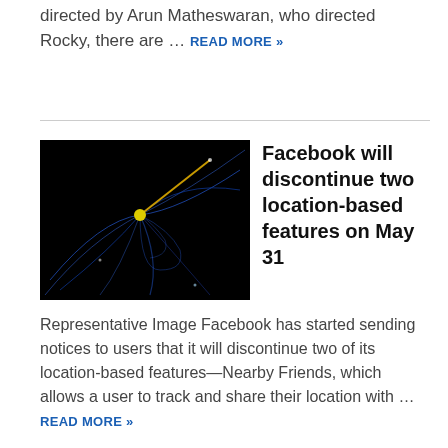directed by Arun Matheswaran, who directed Rocky, there are … READ MORE »
Facebook will discontinue two location-based features on May 31
[Figure (photo): Dark image with blue light trails and a yellow dot representing a network or location visualization]
Representative Image Facebook has started sending notices to users that it will discontinue two of its location-based features—Nearby Friends, which allows a user to track and share their location with … READ MORE »
Puliyogre tamarind rice: journey from temple prasad to the main dish at a
[Figure (photo): Dark image with blue light trails and a yellow dot representing a network or location visualization]